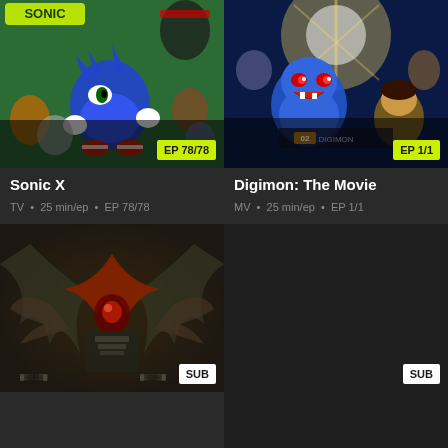[Figure (screenshot): Sonic X anime cover art showing Sonic the Hedgehog and other characters on green background with 'EP 78/78' badge]
Sonic X
TV • 25 min/ep • EP 78/78
[Figure (screenshot): Digimon: The Movie cover art showing Digimon characters on blue background with 'EP 1/1' badge]
Digimon: The Movie
MV • 25 min/ep • EP 1/1
[Figure (screenshot): Dark fantasy/mecha anime cover art with winged creature and SUB badge]
[Figure (screenshot): Dark/empty card with SUB badge]